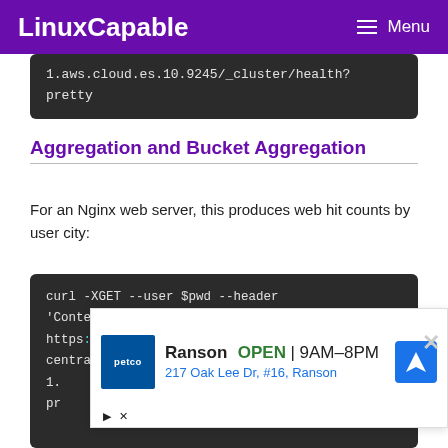LinuxCapable  ☰ Menu
[Figure (screenshot): Dark terminal code block showing partial URL: 1.aws.cloud.es.10.9245/_cluster/health?pretty]
Aggregation and Bucket Aggregation
For an Nginx web server, this produces web hit counts by user city:
[Figure (screenshot): Dark terminal code block showing: curl -XGET --user $pwd --header 'Content-Type: application/json' https://58571402f5464923883e7be42a037917.e central- 1.[...] ch? pr[...]]
[Figure (screenshot): Advertisement overlay: Petco / Ranson OPEN 9AM-8PM, 217 Oak Lee Dr, #16, Ranson with navigation icon]